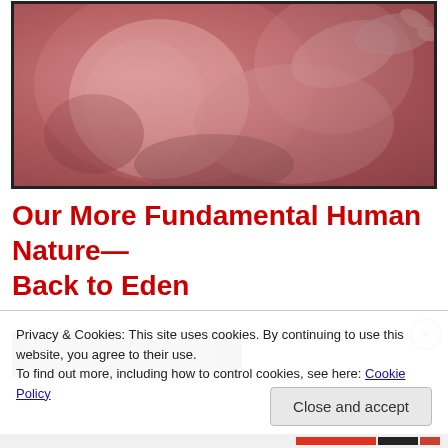[Figure (photo): Close-up photograph of a fetus/unborn baby in the womb, showing the head, face, and hands against a reddish-pink background]
Our More Fundamental Human Nature—Back to Eden
[Figure (screenshot): Dark thumbnail of a video, partially visible]
Privacy & Cookies: This site uses cookies. By continuing to use this website, you agree to their use.
To find out more, including how to control cookies, see here: Cookie Policy
Close and accept